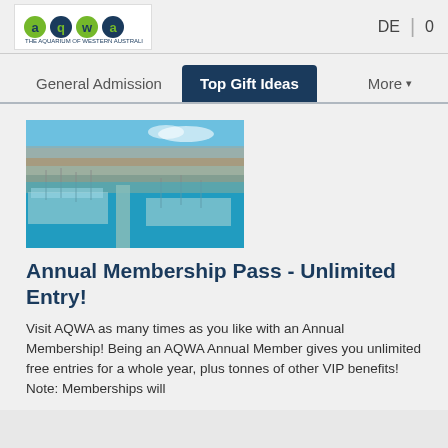AQWA - The Aquarium of Western Australia | DE | 0
General Admission | Top Gift Ideas | More
[Figure (photo): Aerial photograph of a marina/harbour with many boats docked, blue water, and a coastal town in the background]
Annual Membership Pass - Unlimited Entry!
Visit AQWA as many times as you like with an Annual Membership! Being an AQWA Annual Member gives you unlimited free entries for a whole year, plus tonnes of other VIP benefits! Note: Memberships will